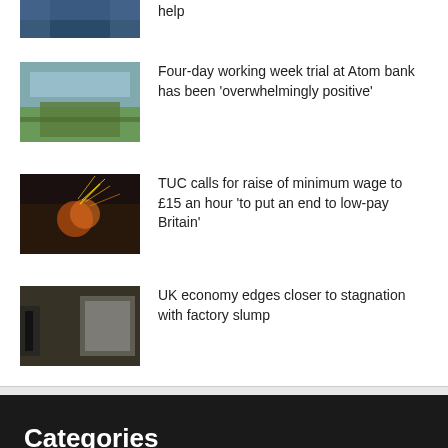[Figure (photo): Partial image of person (cropped at top), blue tones]
help
[Figure (photo): Modern building with green trees and cloudy sky]
Four-day working week trial at Atom bank has been 'overwhelmingly positive'
[Figure (photo): Metal sparks flying from industrial metalworking]
TUC calls for raise of minimum wage to £15 an hour 'to put an end to low-pay Britain'
[Figure (photo): Worker in a factory with glassware and machinery]
UK economy edges closer to stagnation with factory slump
Categories
Business